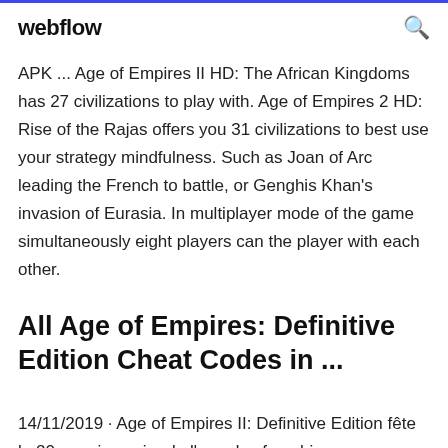webflow
APK ... Age of Empires II HD: The African Kingdoms has 27 civilizations to play with. Age of Empires 2 HD: Rise of the Rajas offers you 31 civilizations to best use your strategy mindfulness. Such as Joan of Arc leading the French to battle, or Genghis Khan's invasion of Eurasia. In multiplayer mode of the game simultaneously eight players can the player with each other.
All Age of Empires: Definitive Edition Cheat Codes in ...
14/11/2019 · Age of Empires II: Definitive Edition fête le 20e anniversaire de l'une des franchises